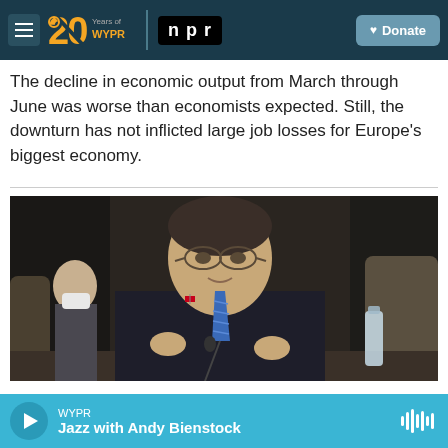WYPR | 20 Years of WYPR | NPR | Donate
The decline in economic output from March through June was worse than economists expected. Still, the downturn has not inflicted large job losses for Europe's biggest economy.
[Figure (photo): A man in a dark suit with a blue striped tie speaking at a meeting; an American flag pin on his lapel; a person wearing a mask visible in the background; a water bottle on the table.]
WYPR — Jazz with Andy Bienstock